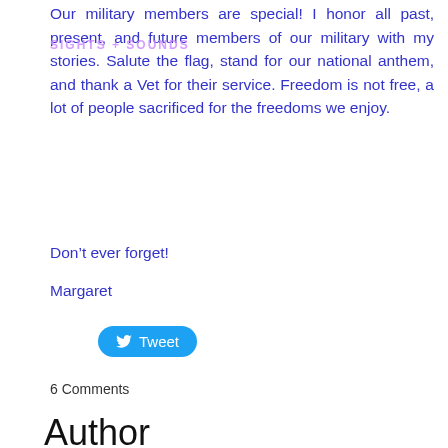Our military members are special! I honor all past, present, and future members of our military with my stories. Salute the flag, stand for our national anthem, and thank a Vet for their service. Freedom is not free, a lot of people sacrificed for the freedoms we enjoy.
Don’t ever forget!
Margaret
[Figure (other): Tweet button with Twitter bird icon]
6 Comments
Author
All 3 Sisters have now published blog posts.
Archives
June 2022
October 2021